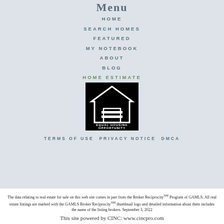Menu
HOME
SEARCH HOMES
FEATURED
MY NOTEBOOK
ABOUT
BLOG
HOME ESTIMATE
[Figure (logo): Equal Housing Opportunity logo — white house with equal sign on black background, text reads EQUAL HOUSING OPPORTUNITY]
TERMS OF USE PRIVACY NOTICE DMCA
The data relating to real estate for sale on this web site comes in part from the Broker ReciprocitySM Program of GAMLS. All real estate listings are marked with the GAMLS Broker ReciprocitySM thumbnail logo and detailed information about them includes the name of the listing brokers. September 3, 2022
This site powered by CINC: www.cincpro.com